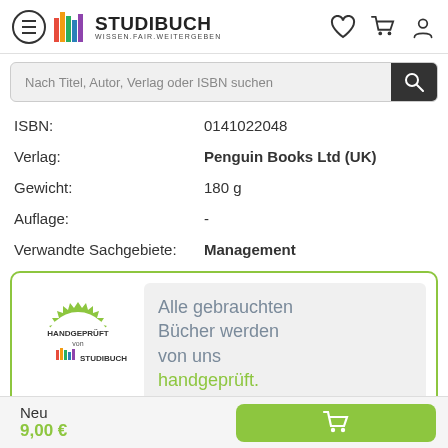[Figure (logo): Studibuch logo with colorful vertical bars and text STUDIBUCH WISSEN.FAIR.WEITERGEBEN]
Nach Titel, Autor, Verlag oder ISBN suchen
ISBN: 0141022048
Verlag: Penguin Books Ltd (UK)
Gewicht: 180 g
Auflage: -
Verwandte Sachgebiete: Management
[Figure (illustration): Green handgeprüft badge stamp with Studibuch logo and text HANDGEPRÜFT von STUDIBUCH]
Alle gebrauchten Bücher werden von uns handgeprüft.
Neu
9,00 €